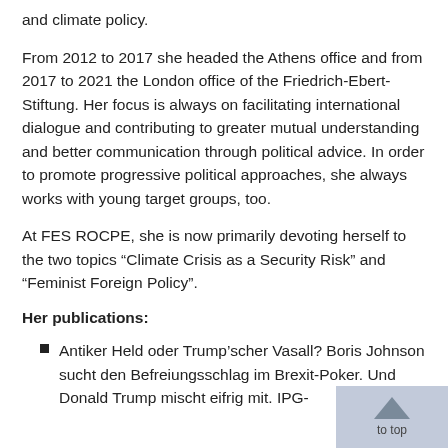and climate policy.
From 2012 to 2017 she headed the Athens office and from 2017 to 2021 the London office of the Friedrich-Ebert-Stiftung. Her focus is always on facilitating international dialogue and contributing to greater mutual understanding and better communication through political advice. In order to promote progressive political approaches, she always works with young target groups, too.
At FES ROCPE, she is now primarily devoting herself to the two topics “Climate Crisis as a Security Risk” and “Feminist Foreign Policy”.
Her publications:
Antiker Held oder Trump’scher Vasall? Boris Johnson sucht den Befreiungsschlag im Brexit-Poker. Und Donald Trump mischt eifrig mit. IPG-